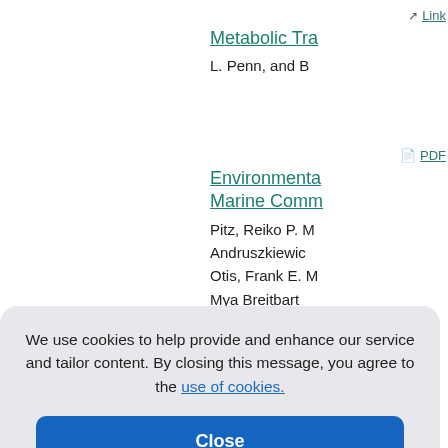Link — Metabolic Tra...
L. Penn, and B...
PDF — Environmenta...
Marine Comm...
Pitz, Reiko P. M...
Andruszkiewic...
Otis, Frank E. M...
Mya Breitbart
...ie Geolog...
...rctica, Isa...
...ifeld, Rob...
...ay, Matth...
...ruce A. H...
We use cookies to help provide and enhance our service and tailor content. By closing this message, you agree to the use of cookies.
Close